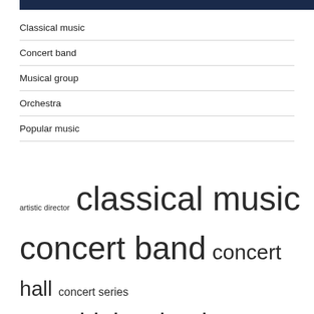Classical music
Concert band
Musical group
Orchestra
Popular music
[Figure (infographic): Tag cloud with music-related terms in varying font sizes: artistic director, classical music, concert band, concert hall, concert series, covid pandemic, high school, musical director, music director, performing arts, piano concerto, popular music, school music, symphony orchestra]